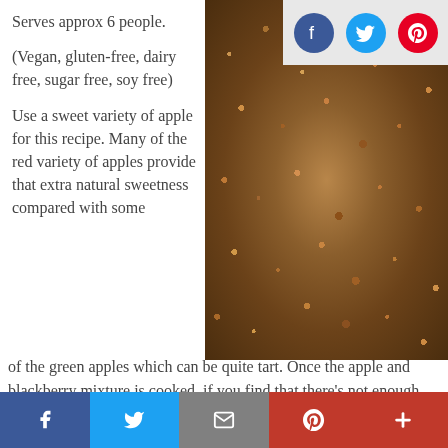Serves approx 6 people.
(Vegan, gluten-free, dairy free, sugar free, soy free)
[Figure (photo): A close-up photo of a crumble topping in a pie dish, golden-brown and textured]
Use a sweet variety of apple for this recipe. Many of the red variety of apples provide that extra natural sweetness compared with some of the green apples which can be quite tart. Once the apple and blackberry mixture is cooked, if you find that there's not enough sweetness, then add
Facebook | Twitter | Email | Pinterest | More